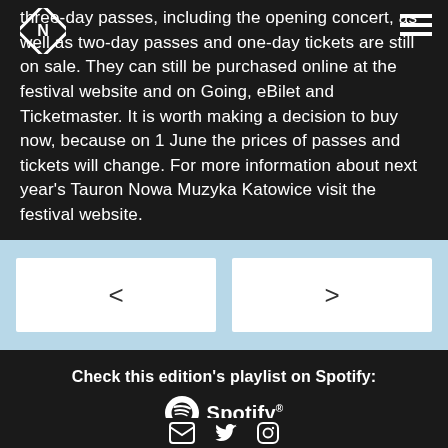three-day passes, including the opening concert, as well as two-day passes and one-day tickets are still on sale. They can still be purchased online at the festival website and on Going, eBilet and Ticketmaster. It is worth making a decision to buy now, because on 1 June the prices of passes and tickets will change. For more information about next year's Tauron Nowa Muzyka Katowice visit the festival website.
[Figure (other): Navigation arrows: left arrow button and right arrow button on a light blue background]
Check this edition's playlist on Spotify:
[Figure (logo): Spotify logo with circular icon and wordmark]